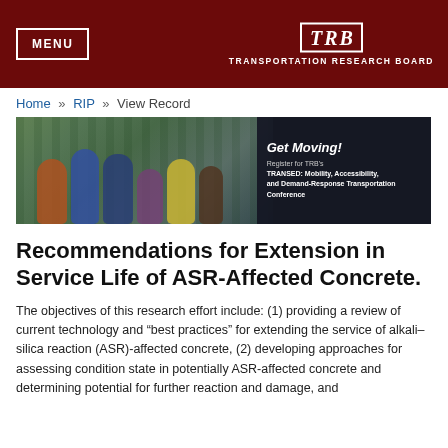MENU | TRB TRANSPORTATION RESEARCH BOARD
Home » RIP » View Record
[Figure (photo): Banner photo showing a group of people at a conference venue with text overlay: 'Get Moving! Register for TRB's TRANSED: Mobility, Accessibility, and Demand-Response Transportation Conference']
Recommendations for Extension in Service Life of ASR-Affected Concrete.
The objectives of this research effort include: (1) providing a review of current technology and “best practices” for extending the service of alkali–silica reaction (ASR)-affected concrete, (2) developing approaches for assessing condition state in potentially ASR-affected concrete and determining potential for further reaction and damage, and